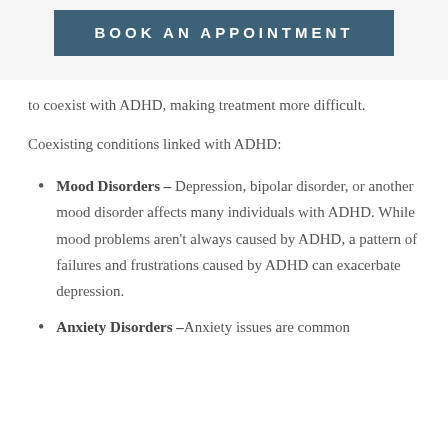BOOK AN APPOINTMENT
to coexist with ADHD, making treatment more difficult.
Coexisting conditions linked with ADHD:
Mood Disorders – Depression, bipolar disorder, or another mood disorder affects many individuals with ADHD. While mood problems aren't always caused by ADHD, a pattern of failures and frustrations caused by ADHD can exacerbate depression.
Anxiety Disorders – Anxiety issues are common